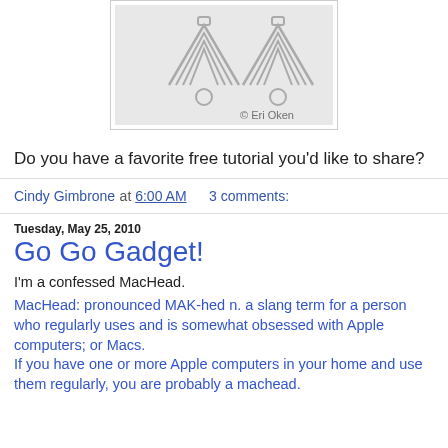[Figure (photo): Photo of two wire-wrapped earrings with heart/triangle wire designs and small circular loops at bottom, on a white background. Watermark reads '© Eri Oken'.]
Do you have a favorite free tutorial you'd like to share?
Cindy Gimbrone at 6:00 AM   3 comments:
Tuesday, May 25, 2010
Go Go Gadget!
I'm a confessed MacHead.
MacHead: pronounced MAK-hed n. a slang term for a person who regularly uses and is somewhat obsessed with Apple computers; or Macs.
If you have one or more Apple computers in your home and use them regularly, you are probably a machead.